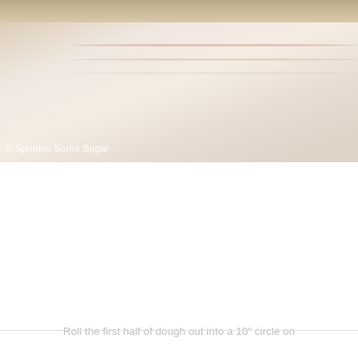[Figure (photo): Close-up photo of rolled-out dough on a light background, showing the smooth pale dough surface with faint lines and texture. A watermark reads '© Sprinkle Some Sugar' in the lower left.]
Roll the first half of dough out into a 10" circle on